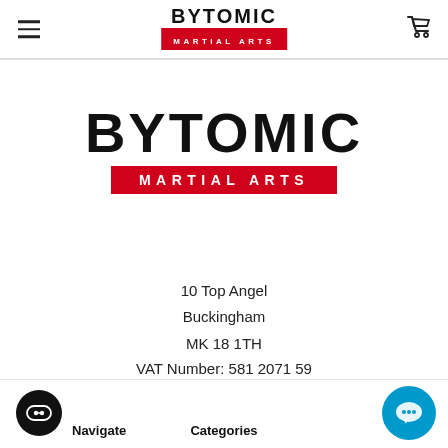BYTOMIC MARTIAL ARTS (header logo)
[Figure (logo): Bytomic Martial Arts logo — large black bold BYTOMIC text above a red banner reading MARTIAL ARTS in white letters]
10 Top Angel
Buckingham
MK 18 1TH
VAT Number: 581 2071 59
Navigate    Categories